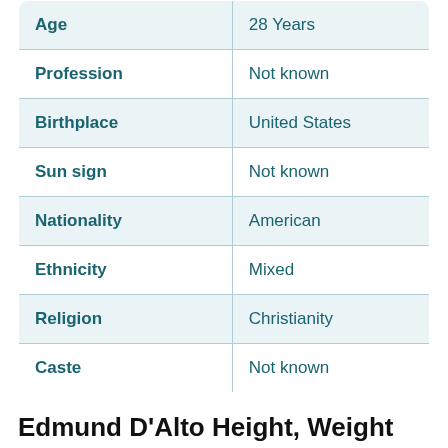|  |  |
| --- | --- |
| Age | 28 Years |
| Profession | Not known |
| Birthplace | United States |
| Sun sign | Not known |
| Nationality | American |
| Ethnicity | Mixed |
| Religion | Christianity |
| Caste | Not known |
Edmund D'Alto Height, Weight and Body